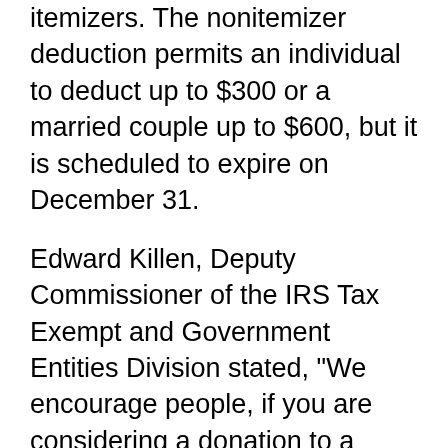itemizers. The nonitemizer deduction permits an individual to deduct up to $300 or a married couple up to $600, but it is scheduled to expire on December 31.
Edward Killen, Deputy Commissioner of the IRS Tax Exempt and Government Entities Division stated, "We encourage people, if you are considering a donation to a charity, to do it as soon as possible before the December 31 deadline."
David Thompson is Vice President of Public Policy at the National Council of Nonprofits. He encouraged donors to use the nonitemizer deduction and stated, "At a time when nonprofits continue to see immense demand for services, are facing significant challenges hiring and retaining staff to deliver those services — every donation counts. We are thankful that the universal (or